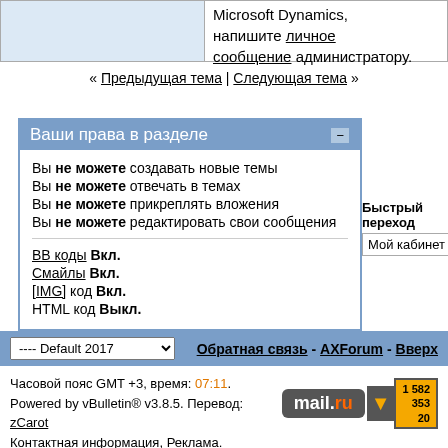Microsoft Dynamics, напишите личное сообщение администратору.
« Предыдущая тема | Следующая тема »
Ваши права в разделе
Вы не можете создавать новые темы
Вы не можете отвечать в темах
Вы не можете прикреплять вложения
Вы не можете редактировать свои сообщения
BB коды Вкл.
Смайлы Вкл.
[IMG] код Вкл.
HTML код Выкл.
Быстрый переход
Мой кабинет
---- Default 2017
Обратная связь - AXForum - Вверх
Часовой пояс GMT +3, время: 07:11. Powered by vBulletin® v3.8.5. Перевод: zCarot Контактная информация, Реклама.